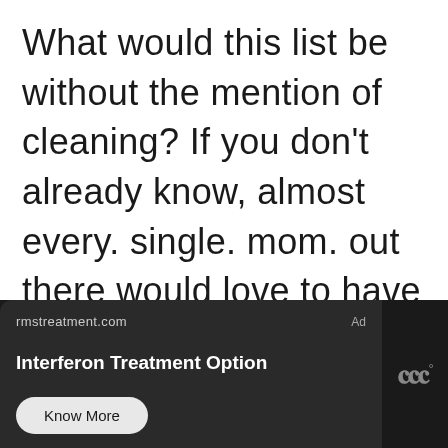What would this list be without the mention of cleaning? If you don't already know, almost every. single. mom. out there would love to have a little help with housecleaning.
[Figure (screenshot): Advertisement banner with dark background. Shows 'rmstreatment.com' domain, 'Ad' label, bold headline 'Interferon Treatment Option', and a 'Know More' button. Weather widget visible on right side.]